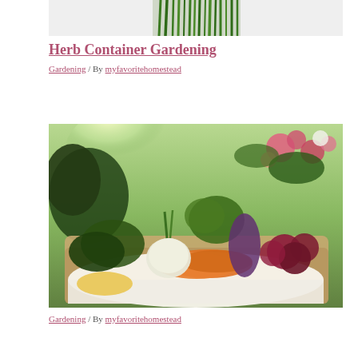[Figure (photo): Partial view of green herb stems/scallions against a white background — cropped top portion of herb photo]
Herb Container Gardening
Gardening / By myfavoritehomestead
[Figure (photo): A wooden basket filled with fresh vegetables including carrots, beets, onions, leafy greens, and flowers in a garden setting with soft sunlight]
Gardening / By myfavoritehomestead